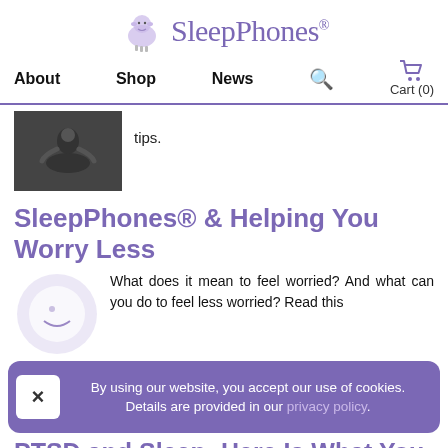SleepPhones®
About  Shop  News  Cart (0)
tips.
SleepPhones® & Helping You Worry Less
What does it mean to feel worried? And what can you do to feel less worried? Read this
By using our website, you accept our use of cookies. Details are provided in our privacy policy.
PTSD and Sleep: Here Is What You Need to Know